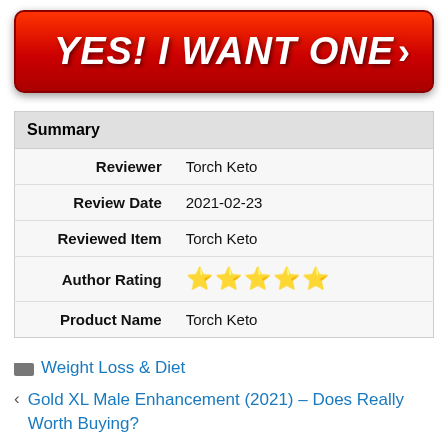[Figure (other): Red call-to-action button with italic bold white text 'YES! I WANT ONE' and a right-pointing arrow chevron on the right side]
| Summary |
| --- |
| Reviewer | Torch Keto |
| Review Date | 2021-02-23 |
| Reviewed Item | Torch Keto |
| Author Rating | ★★★★★ |
| Product Name | Torch Keto |
Weight Loss & Diet
Gold XL Male Enhancement (2021) – Does Really Worth Buying?
Vytalyze CBD Reviews 2021 – Does CBD